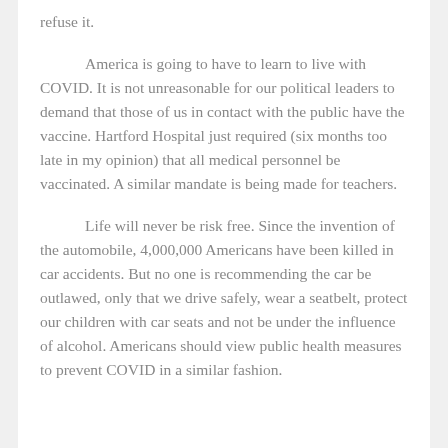refuse it.
America is going to have to learn to live with COVID. It is not unreasonable for our political leaders to demand that those of us in contact with the public have the vaccine. Hartford Hospital just required (six months too late in my opinion) that all medical personnel be vaccinated. A similar mandate is being made for teachers.
Life will never be risk free. Since the invention of the automobile, 4,000,000 Americans have been killed in car accidents. But no one is recommending the car be outlawed, only that we drive safely, wear a seatbelt, protect our children with car seats and not be under the influence of alcohol. Americans should view public health measures to prevent COVID in a similar fashion.